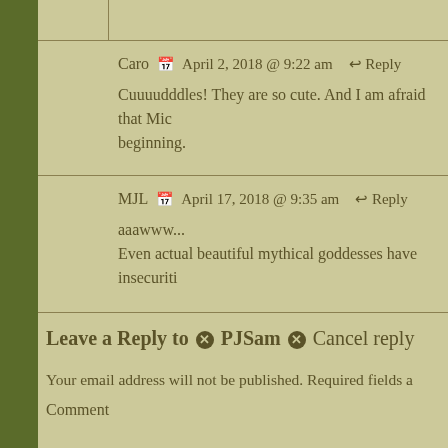Caro   April 2, 2018 @ 9:22 am   ↩ Reply
Cuuuudddles! They are so cute. And I am afraid that Mic... beginning.
MJL   April 17, 2018 @ 9:35 am   ↩ Reply
aaawww...
Even actual beautiful mythical goddesses have insecuriti...
Leave a Reply to ⊗ PJSam ⊗ Cancel reply
Your email address will not be published. Required fields a...
Comment